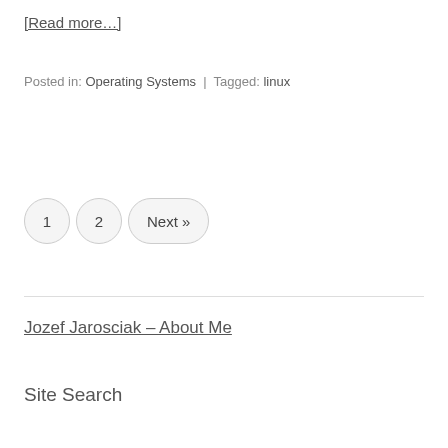[Read more…]
Posted in: Operating Systems | Tagged: linux
1  2  Next »
Jozef Jarosciak – About Me
Site Search